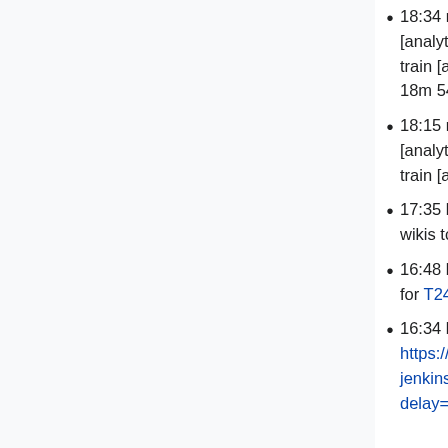18:34 mforns@deploy1001: Finished deploy [analytics/refinery@ebd624a]: Regular analytics weekly train [analytics/refinery@ebd624a5e4c88ac69 (duration: 18m 54s)
18:15 mforns@deploy1001: Started deploy [analytics/refinery@ebd624a]: Regular analytics weekly train [analytics/refinery@ebd624a5e4c88ac69
17:35 brennen@deploy1001: Started scap: testwikis wikis to 1.35.0-wmf.31
16:48 brennen: 1.35.0-wmf.31 was branched at 4d3fed3 for T249963
16:34 brennen: triggering branch cut for 1.35.0-wmf.31 (T249963) via https://releases-jenkins.wikimedia.org/job/MediaWiki%20Train%20Branch%20Cut/build?delay=0sec